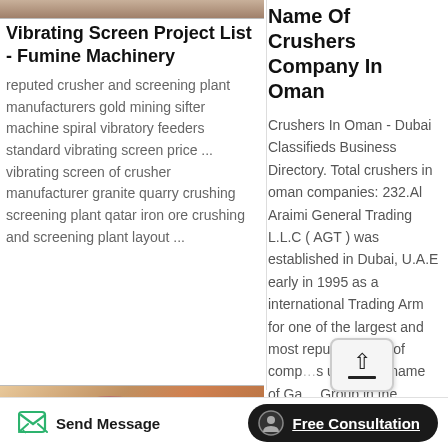[Figure (photo): Partial top strip of a machinery/mining image]
Vibrating Screen Project List - Fumine Machinery
reputed crusher and screening plant manufacturers gold mining sifter machine spiral vibratory feeders standard vibrating screen price ... vibrating screen of crusher manufacturer granite quarry crushing screening plant qatar iron ore crushing and screening plant layout ...
Name Of Crushers Company In Oman
Crushers In Oman - Dubai Classifieds Business Directory. Total crushers in oman companies: 232.Al Araimi General Trading L.L.C ( AGT ) was established in Dubai, U.A.E early in 1995 as a international Trading Arm for one of the largest and most reputed group of companies under the name of Galfar Group in the Sultanate of Oman.
[Figure (photo): Bottom partial image of industrial machinery with orange/brown tones]
Send Message
Free Consultation